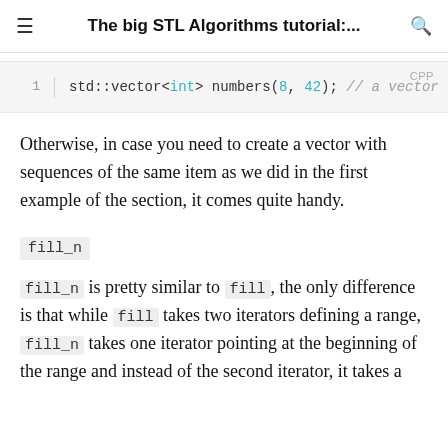The big STL Algorithms tutorial:...
[Figure (screenshot): Code block showing C++ code: std::vector<int> numbers(8, 42); // a vector of ...]
Otherwise, in case you need to create a vector with sequences of the same item as we did in the first example of the section, it comes quite handy.
fill_n
fill_n is pretty similar to fill, the only difference is that while fill takes two iterators defining a range, fill_n takes one iterator pointing at the beginning of the range and instead of the second iterator, it takes a